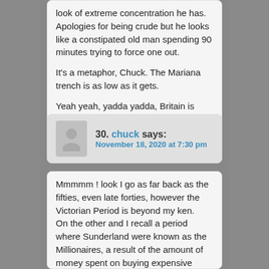look of extreme concentration he has. Apologies for being crude but he looks like a constipated old man spending 90 minutes trying to force one out.

It's a metaphor, Chuck. The Mariana trench is as low as it gets.

Yeah yeah, yadda yadda, Britain is going down like the Titanic etc…
30. chuck says: November 18, 2020 at 7:30 pm
Mmmmm ! look I go as far back as the fifties, even late forties, however the Victorian Period is beyond my ken.
On the other and I recall a period where Sunderland were known as the Millionaires, a result of the amount of money spent on buying expensive players, which took place during the mid fifties...